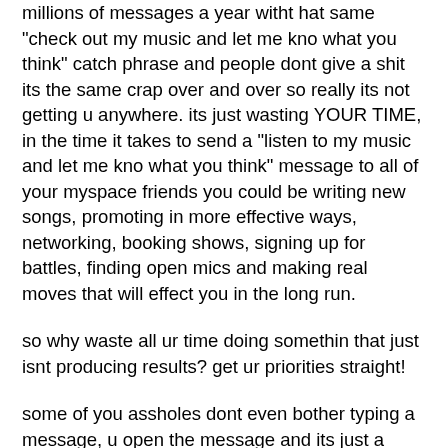millions of messages a year witht hat same "check out my music and let me kno what you think" catch phrase and people dont give a shit its the same crap over and over so really its not getting u anywhere. its just wasting YOUR TIME, in the time it takes to send a "listen to my music and let me kno what you think" message to all of your myspace friends you could be writing new songs, promoting in more effective ways, networking, booking shows, signing up for battles, finding open mics and making real moves that will effect you in the long run.
so why waste all ur time doing somethin that just isnt producing results? get ur priorities straight!
some of you assholes dont even bother typing a message, u open the message and its just a giant flier of your album/show/newsong/whatever. or ull start with soemthing that SOUNDS like its custom like yo "YOURNAMEHERE" i love what ur doin man jus droppin by to SHOW LOVE.....oh and by the way heres a giant flier of my new album go listen to my tracks, add me, add my whole wack ass crew, sign my guets book, demand me to play in japan, do this do that do